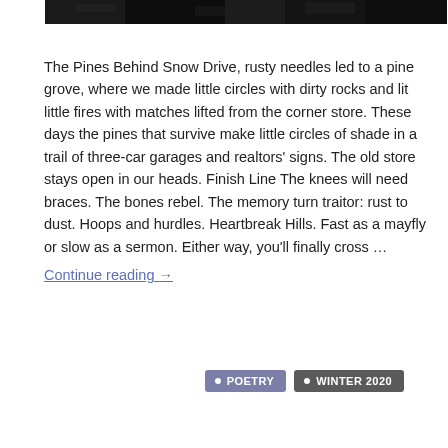[Figure (photo): Dark black-and-white photo strip at top of page, likely trees or foliage]
The Pines Behind Snow Drive, rusty needles led to a pine grove, where we made little circles with dirty rocks and lit little fires with matches lifted from the corner store. These days the pines that survive make little circles of shade in a trail of three-car garages and realtors' signs. The old store stays open in our heads. Finish Line The knees will need braces. The bones rebel. The memory turn traitor: rust to dust. Hoops and hurdles. Heartbreak Hills. Fast as a mayfly or slow as a sermon. Either way, you'll finally cross …
Continue reading →
POETRY
WINTER 2020